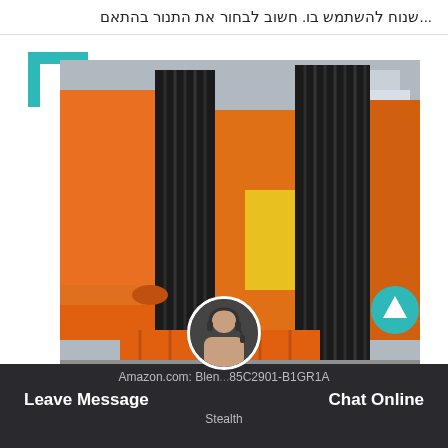...שנוח להשתמש בו. חשוב לבחור את התנור בהתאם
[Figure (photo): Large industrial machine with orange and black corrugated metal panels, yellow accent, and orange cylindrical component visible at lower left. Industrial equipment photographed outdoors.]
Amazon.com: Blen...85C2901-B1GR1A | Leave Message | Chat Online | Stealth